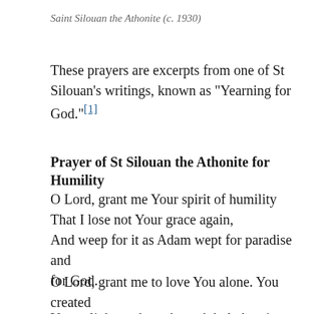Saint Silouan the Athonite (c. 1930)
These prayers are excerpts from one of St Silouan’s writings, known as “Yearning for God.”[1]
Prayer of St Silouan the Athonite for Humility
O Lord, grant me Your spirit of humility
That I lose not Your grace again,
And weep for it as Adam wept for paradise and for God.
O Lord, grant me to love You alone. You created me,
You enlightened me through holy baptism